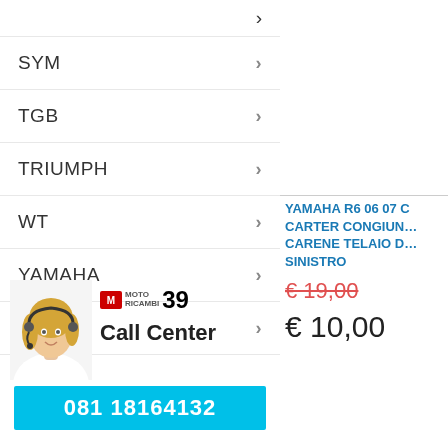SYM >
TGB >
TRIUMPH >
WT >
YAMAHA >
ALTRO >
[Figure (photo): Woman with headset smiling, Moto Ricambi 39 Call Center logo]
081 18164132
YAMAHA R6 06 07 CARTER CONGIUN… CARENE TELAIO D… SINISTRO
€ 19,00
€ 10,00